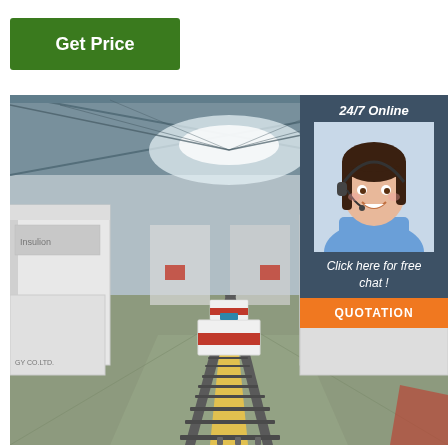[Figure (photo): Industrial warehouse facility with rail tracks on the floor, white shipping containers/machinery on both sides, and small red and white rail vehicles on the track inside the facility.]
Get Price
24/7 Online
[Figure (photo): Smiling woman with dark hair wearing a headset, customer service representative in blue shirt.]
Click here for free chat !
QUOTATION